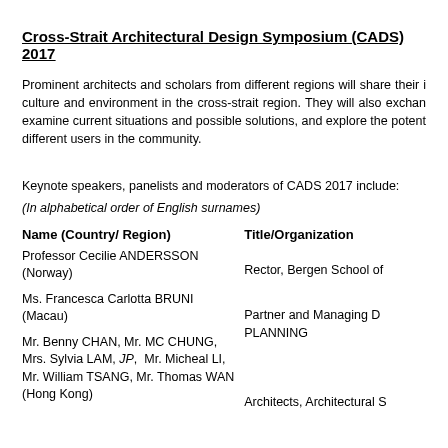Cross-Strait Architectural Design Symposium (CADS) 2017
Prominent architects and scholars from different regions will share their insights on architecture, culture and environment in the cross-strait region. They will also exchange views, examine current situations and possible solutions, and explore the potential of the built environment for different users in the community.
Keynote speakers, panelists and moderators of CADS 2017 include:
(In alphabetical order of English surnames)
| Name (Country/ Region) | Title/Organization |
| --- | --- |
| Professor Cecilie ANDERSSON
(Norway) | Rector, Bergen School of |
| Ms. Francesca Carlotta BRUNI
(Macau) | Partner and Managing D
PLANNING |
| Mr. Benny CHAN, Mr. MC CHUNG,
Mrs. Sylvia LAM, JP, Mr. Micheal LI,
Mr. William TSANG, Mr. Thomas WAN
(Hong Kong) | Architects, Architectural S |